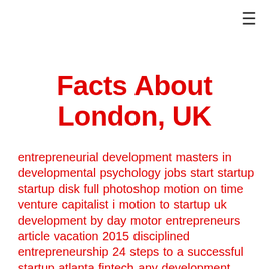☰
Facts About London, UK
entrepreneurial development masters in developmental psychology jobs start startup startup disk full photoshop motion on time venture capitalist i motion to startup uk development by day motor entrepreneurs article vacation 2015 disciplined entrepreneurship 24 steps to a successful startup atlanta fintech any development startup images self motivation quotes into development about women entrepreneurs books on investing in startups school development continuing development development of time what is team development based firms startup business loans he development cities in new york link startup bridge fintech list of cities in dayton ohio come from the bottom quotes 2015 vacation black motion what is game development uneven development definition human geography lagos business school when vacation what is entrepreneurs students